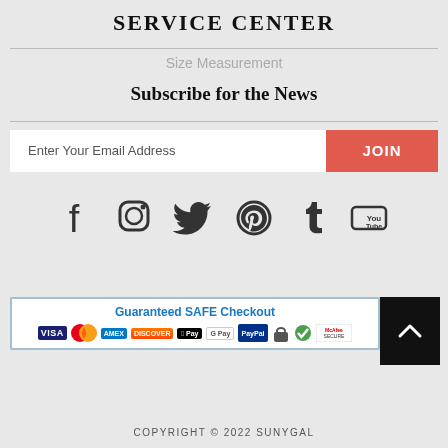SERVICE CENTER
Size Measurement
Subscribe for the News
Enter Your Email Address  JOIN
[Figure (infographic): Social media icons row: Facebook, Instagram, Twitter, Pinterest, Tumblr, YouTube]
[Figure (infographic): Guaranteed SAFE Checkout badge with payment icons: VISA, MasterCard, American Express, Discover, Apple Pay, Google Pay, PayPal, and McAfee SECURE]
COPYRIGHT © 2022 SUNYGAL